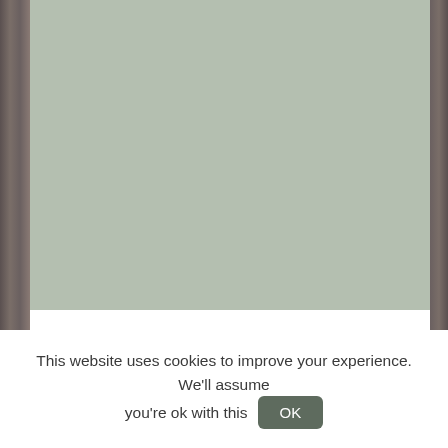[Figure (photo): A sage green painted wall or panel framed by dark wood/rustic wooden borders on the left and right sides.]
This website uses cookies to improve your experience. We'll assume you're ok with this  OK